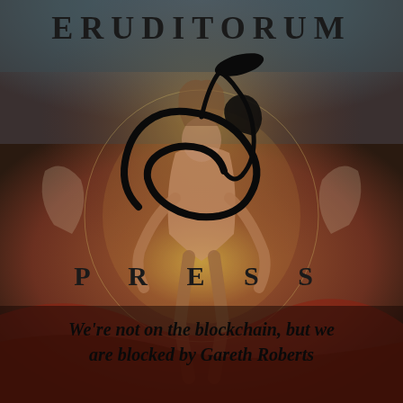[Figure (logo): Eruditorum Press logo: stylized 'EP' monogram in black cursive script over a background painting of a muscular figure (William Blake-style artwork) in dark red and brown tones]
ERUDITORUM
PRESS
We're not on the blockchain, but we are blocked by Gareth Roberts